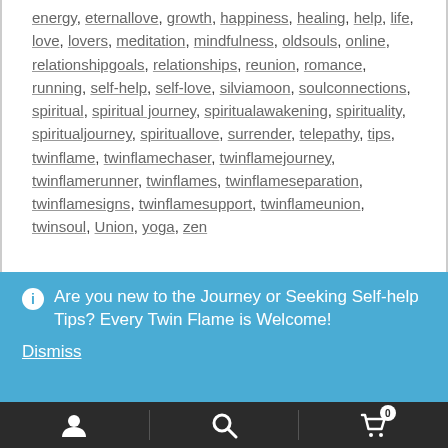energy, eternallove, growth, happiness, healing, help, life, love, lovers, meditation, mindfulness, oldsouls, online, relationshipgoals, relationships, reunion, romance, running, self-help, self-love, silviamoon, soulconnections, spiritual, spiritual journey, spiritualawakening, spirituality, spiritualjourney, spirituallove, surrender, telepathy, tips, twinflame, twinflamechaser, twinflamejourney, twinflamerunner, twinflames, twinflameseparation, twinflamesigns, twinflamesupport, twinflameunion, twinsoul, Union, yoga, zen
Are you new to the Journey or Seeking Self-help Tips? Every Twin Flame is Welcome! Dismiss